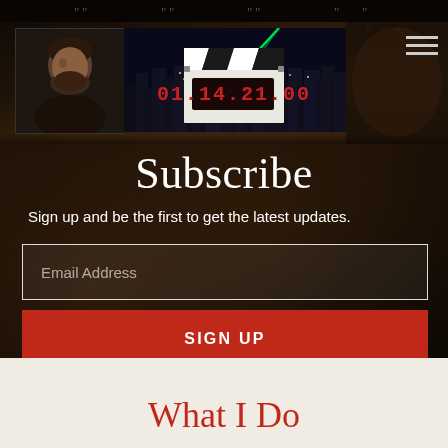[Figure (photo): Website header with profile photo of a man with beard on the left, city night skyline banner with green laser light in center, dark cinematic background with hamburger menu icon top right]
Subscribe
Sign up and be the first to get the latest updates.
Email Address
SIGN UP
What I Do